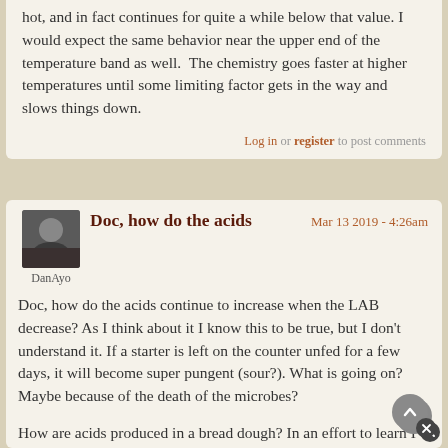hot, and in fact continues for quite a while below that value. I would expect the same behavior near the upper end of the temperature band as well. The chemistry goes faster at higher temperatures until some limiting factor gets in the way and slows things down.
Log in or register to post comments
Doc, how do the acids
Mar 13 2019 - 4:26am
DanAyo
Doc, how do the acids continue to increase when the LAB decrease? As I think about it I know this to be true, but I don't understand it. If a starter is left on the counter unfed for a few days, it will become super pungent (sour?). What is going on? Maybe because of the death of the microbes?
How are acids produced in a bread dough? In an effort to learn I consulted Mr. Google. How is wish I could understand and and recall THIS INFORMATION.
What is Type III sourdough? It looks like it is sed for